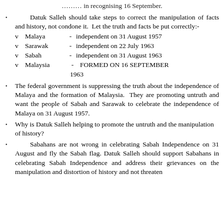……… in recognising 16 September.
Datuk Salleh should take steps to correct the manipulation of facts and history, not condone it. Let the truth and facts be put correctly:-
v Malaya - independent on 31 August 1957
v Sarawak - independent on 22 July 1963
v Sabah - independent on 31 August 1963
v Malaysia - FORMED ON 16 SEPTEMBER 1963
The federal government is suppressing the truth about the independence of Malaya and the formation of Malaysia. They are promoting untruth and want the people of Sabah and Sarawak to celebrate the independence of Malaya on 31 August 1957.
Why is Datuk Salleh helping to promote the untruth and the manipulation of history?
Sabahans are not wrong in celebrating Sabah Independence on 31 August and fly the Sabah flag. Datuk Salleh should support Sabahans in celebrating Sabah Independence and address their grievances on the manipulation and distortion of history and not threaten